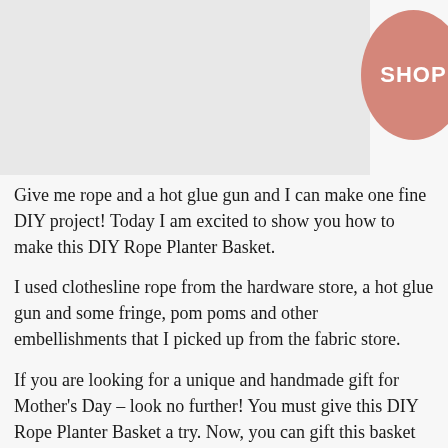[Figure (photo): Placeholder image area for a DIY Rope Planter Basket photo]
[Figure (other): Pink/salmon oval SHOP badge in upper right corner]
Give me rope and a hot glue gun and I can make one fine DIY project! Today I am excited to show you how to make this DIY Rope Planter Basket.
I used clothesline rope from the hardware store, a hot glue gun and some fringe, pom poms and other embellishments that I picked up from the fabric store.
If you are looking for a unique and handmade gift for Mother's Day – look no further! You must give this DIY Rope Planter Basket a try. Now, you can gift this basket as a planter and include a new plant as well. Or you could use the rope basket as a gift basket and fill with some of your mama's favorite things. Either way, this handmade basket will be a favorite of your mom's